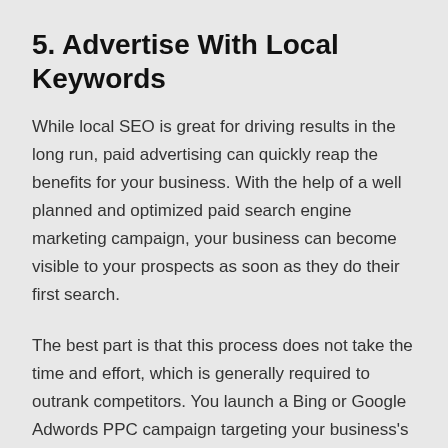5. Advertise With Local Keywords
While local SEO is great for driving results in the long run, paid advertising can quickly reap the benefits for your business. With the help of a well planned and optimized paid search engine marketing campaign, your business can become visible to your prospects as soon as they do their first search.
The best part is that this process does not take the time and effort, which is generally required to outrank competitors. You launch a Bing or Google Adwords PPC campaign targeting your business's local prospects and the results start to show.
Just make sure you have learned enough about PPC and have a level of experience managing & optimizing paid ad